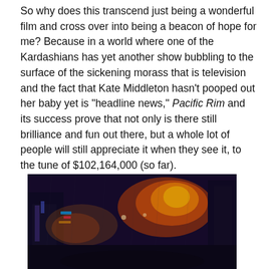So why does this transcend just being a wonderful film and cross over into being a beacon of hope for me? Because in a world where one of the Kardashians has yet another show bubbling to the surface of the sickening morass that is television and the fact that Kate Middleton hasn't pooped out her baby yet is "headline news," Pacific Rim and its success prove that not only is there still brilliance and fun out there, but a whole lot of people will still appreciate it when they see it, to the tune of $102,164,000 (so far).
[Figure (photo): A dark, atmospheric cinematic still from Pacific Rim showing a rainy cityscape at night with glowing lights, neon signs, and orange/red explosions or fire illuminating the scene from a low angle perspective inside a vehicle.]